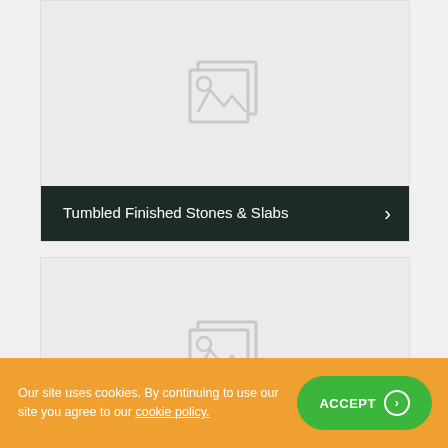[Figure (illustration): Placeholder image thumbnail with stacked image icon on light gray background]
Tumbled Finished Stones & Slabs
[Figure (illustration): Placeholder image thumbnail with stacked image icon on light gray background]
Our site uses cookies. By continuing to use our site you agree to our cookie policy.